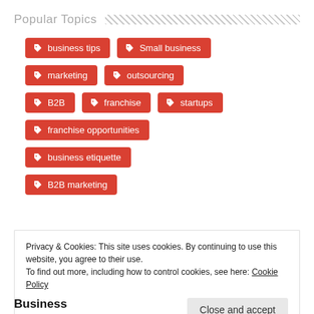Popular Topics
business tips
Small business
marketing
outsourcing
B2B
franchise
startups
franchise opportunities
business etiquette
B2B marketing
Privacy & Cookies: This site uses cookies. By continuing to use this website, you agree to their use. To find out more, including how to control cookies, see here: Cookie Policy
Close and accept
Business